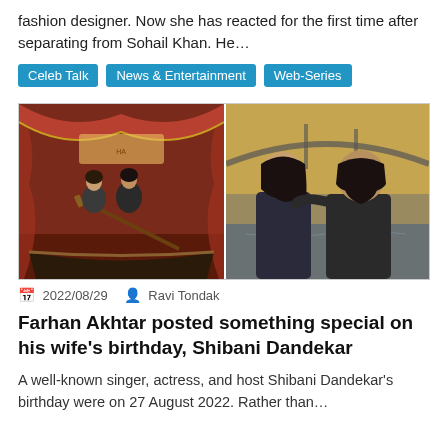fashion designer. Now she has reacted for the first time after separating from Sohail Khan. He...
Celeb Talk
News & Entertainment
Web-Series
[Figure (photo): Two side-by-side photos: left shows a couple posing in a boat on a stage with red curtain background; right shows a woman and a bearded man posing outdoors near water with a bridge in background]
2022/08/29  Ravi Tondak
Farhan Akhtar posted something special on his wife's birthday, Shibani Dandekar
A well-known singer, actress, and host Shibani Dandekar's birthday were on 27 August 2022. Rather than...